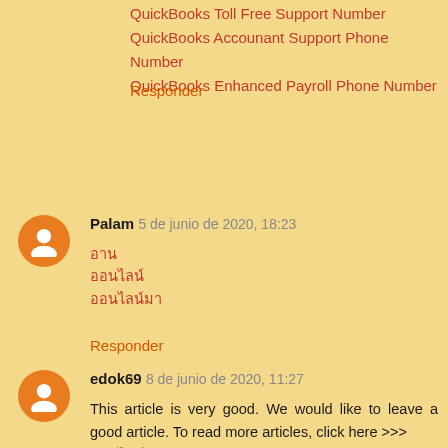QuickBooks Toll Free Support Number
QuickBooks Accounant Support Phone Number
QuickBooks Enhanced Payroll Phone Number
Responder
Palam  5 de junio de 2020, 18:23
อาน
ออนไลน์
ออนไลน์มา
Responder
edok69  8 de junio de 2020, 11:27
This article is very good. We would like to leave a good article. To read more articles, click here >>>
ออนไลน์มา
Responder